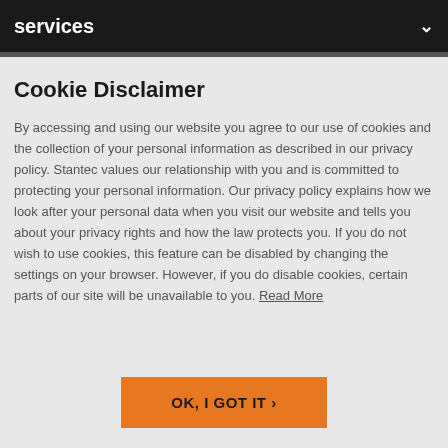services
Cookie Disclaimer
By accessing and using our website you agree to our use of cookies and the collection of your personal information as described in our privacy policy. Stantec values our relationship with you and is committed to protecting your personal information. Our privacy policy explains how we look after your personal data when you visit our website and tells you about your privacy rights and how the law protects you. If you do not wish to use cookies, this feature can be disabled by changing the settings on your browser. However, if you do disable cookies, certain parts of our site will be unavailable to you. Read More